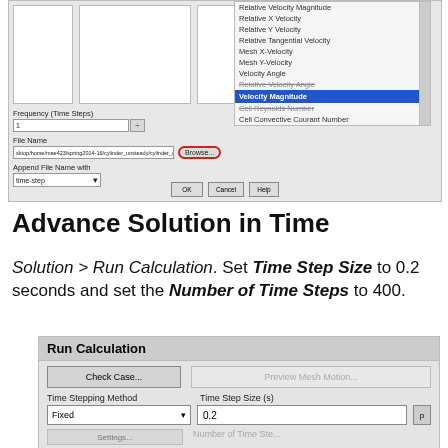[Figure (screenshot): FLUENT CFD software screenshot showing animation export dialog with dropdown list of variables (Velocity Magnitude selected/highlighted in blue), frequency/time steps field, file name browser, append file name options, and OK/Cancel/Help buttons.]
Advance Solution in Time
Solution > Run Calculation. Set Time Step Size to 0.2 seconds and set the Number of Time Steps to 400.
[Figure (screenshot): Run Calculation panel showing Check Case button, Preview Mesh Motion button (grayed out), Time Stepping Method set to Fixed, Time Step Size set to 0.2, and partially visible Settings and Number of Time Steps fields.]